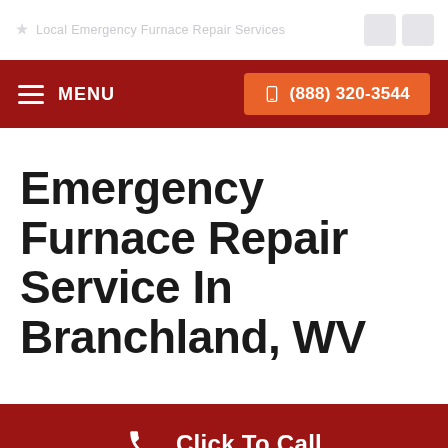Local Emergency Furnace Repair Services
Emergency Furnace Repair Service In Branchland, WV
☰ MENU  📱 (888) 320-3544
Click To Call